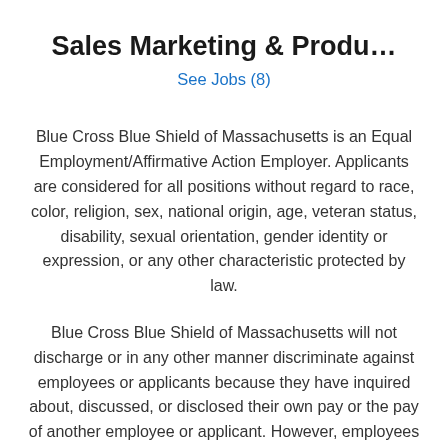Sales Marketing & Produ…
See Jobs (8)
Blue Cross Blue Shield of Massachusetts is an Equal Employment/Affirmative Action Employer. Applicants are considered for all positions without regard to race, color, religion, sex, national origin, age, veteran status, disability, sexual orientation, gender identity or expression, or any other characteristic protected by law.
Blue Cross Blue Shield of Massachusetts will not discharge or in any other manner discriminate against employees or applicants because they have inquired about, discussed, or disclosed their own pay or the pay of another employee or applicant. However, employees who have access to the compensation information of other employees or applicants as a part of their essential job functions cannot disclose the pay of other employees or applicants to individuals who do not otherwise have access to compensation information, unless the disclosure is (a) in response to a formal complaint or charge, (b) in furtherance of an investigation, proceeding, hearing, or action, including an investigation conducted by the employer, or (c) consistent with the contractor's legal duty to furnish information.